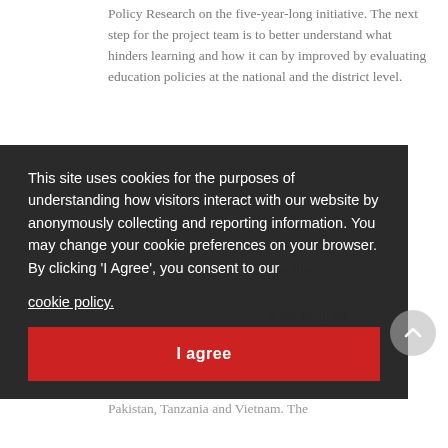Policy Research on the five-year-long initiative. The next step for the project team is to better understand what hinders learning and how it can by improved by evaluating education policies at the national and the district level.
RISE... [partially obscured by cookie banner]
This site uses cookies for the purposes of understanding how visitors interact with our website by anonymously collecting and reporting information. You may change your cookie preferences on your browser. By clicking 'I Agree', you consent to our cookie policy.
I agree
For more information on the RISE